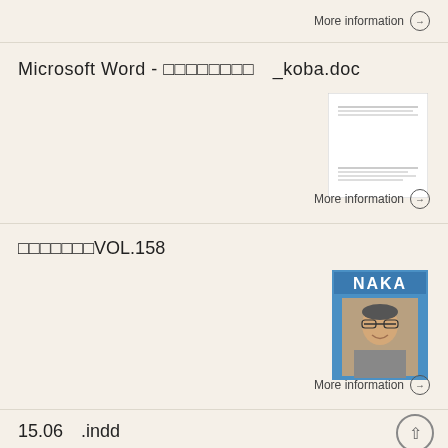More information →
Microsoft Word - □□□□□□□□　_koba.doc
[Figure (photo): Thumbnail of a document page showing text lines, representing a Word document preview]
More information →
□□□□□□□VOL.158
[Figure (photo): Thumbnail image of a NAKA magazine cover featuring a photo of an older man in a suit]
More information →
15.06　.indd